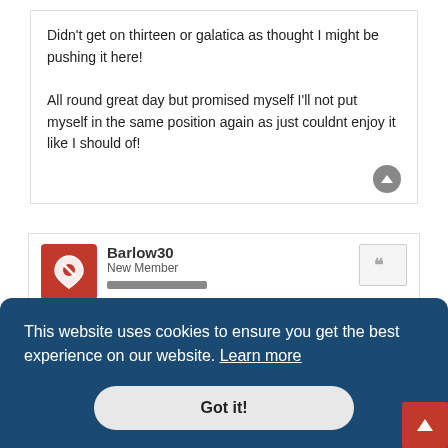Didn't get on thirteen or galatica as thought I might be pushing it here!

All round great day but promised myself I'll not put myself in the same position again as just couldnt enjoy it like I should of!
Barlow30
New Member
Thu Jun 10, 2021 9:57 pm
This website uses cookies to ensure you get the best experience on our website. Learn more
Got it!
I carry my weight very much in my bottom half, particularly bum, hips and legs and a bit of a tum. My